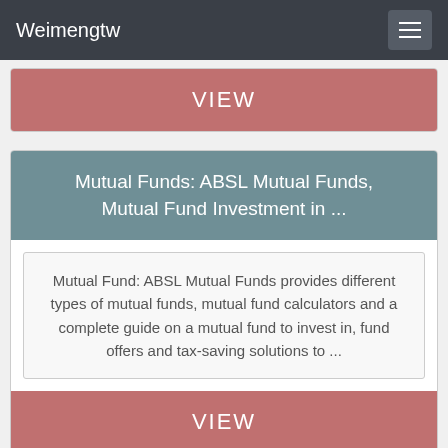Weimengtw
VIEW
Mutual Funds: ABSL Mutual Funds, Mutual Fund Investment in ...
Mutual Fund: ABSL Mutual Funds provides different types of mutual funds, mutual fund calculators and a complete guide on a mutual fund to invest in, fund offers and tax-saving solutions to ...
VIEW